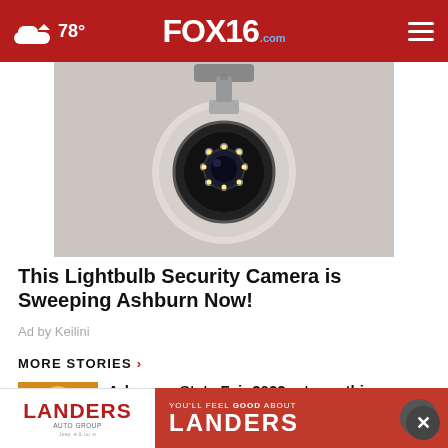FOX16.com — 78° weather — navigation menu
[Figure (photo): Security camera (dome-style lightbulb camera) mounted on a wall, advertisement image]
This Lightbulb Security Camera is Sweeping Ashburn Now!
Ad by Keilini
MORE STORIES ›
[Figure (photo): Arkansas State Fair 2022 thumbnail image with fair logo]
Arkansas State Fair 2022 returns this October
[Figure (photo): Thumbnail image related to IRS story]
The IRS could be on the verge of…
[Figure (photo): Thumbnail image for Fearless 40 Little Rock Southwest story]
Fearless 40: Little Rock Southwest
[Figure (photo): Landers Auto Group advertisement banner with red Landers logo and YOU'LL FEEL GOOD ABOUT LANDERS text]